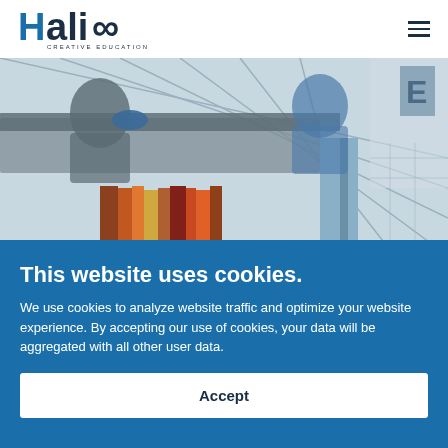Halico Creative Education
[Figure (photo): Students or workers in an educational/library setting, books visible in foreground, modern glass structure in background]
This website uses cookies.
We use cookies to analyze website traffic and optimize your website experience. By accepting our use of cookies, your data will be aggregated with all other user data.
Accept